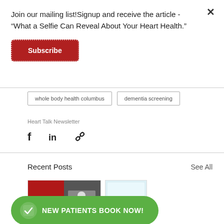Join our mailing list!Signup and receive the article - “What a Selfie Can Reveal About Your Heart Health.”
Subscribe
whole body health columbus
dementia screening
Heart Talk Newsletter
[Figure (other): Social share icons: Facebook, LinkedIn, link/chain icon]
Recent Posts
See All
[Figure (photo): Blog post thumbnail showing a book cover and people]
[Figure (screenshot): Partial blog post thumbnail, light blue tones]
[Figure (other): Green CTA button with checkmark icon reading NEW PATIENTS BOOK NOW!]